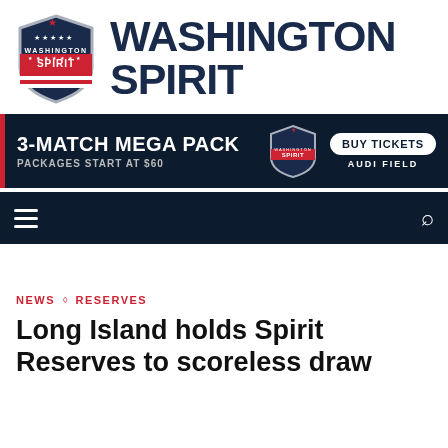[Figure (logo): Washington Spirit shield logo with red banner and stars, American flag colors]
WASHINGTON SPIRIT
[Figure (infographic): 3-Match Mega Pack advertisement banner: Packages start at $60, Buy Tickets, Audi Field]
[Figure (screenshot): Navigation bar with hamburger menu on left and search icon on right, dark navy background]
NEWS ◇ RESERVES
Long Island holds Spirit Reserves to scoreless draw